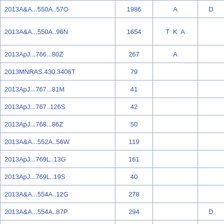|  |  |  |  |
| --- | --- | --- | --- |
| 2013A&A...550A..57O | 1986 | A | D |
| 2013A&A...550A..96N | 1654 | T K A |  |
| 2013ApJ...766...80Z | 267 | A |  |
| 2013MNRAS.430.3406T | 79 |  |  |
| 2013ApJ...767...81M | 41 |  |  |
| 2013ApJ...767..126S | 42 |  |  |
| 2013ApJ...768...86Z | 50 |  |  |
| 2013A&A...552A..56W | 119 |  |  |
| 2013ApJ...769L..13G | 161 |  |  |
| 2013ApJ...769L..19S | 40 |  |  |
| 2013A&A...554A..12G | 278 |  |  |
| 2013A&A...554A..87P | 294 |  | D |
| 2013ApJS..207...10R |  |  |  |
| 2013ApJ...771L..24Y | 41 |  |  |
| 2013ApJ...772..100L | 40 |  |  |
| 2013ApJ...773...29Z | 40 |  |  |
| 2013ApJ...773...41D | 79 |  |  |